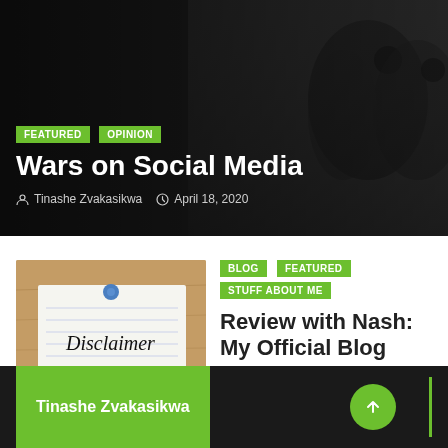[Figure (photo): Dark hero banner showing silhouettes of cyclists in the background with overlaid text content]
Wars on Social Media
Tinashe Zvakasikwa   April 18, 2020
[Figure (photo): Thumbnail image of a note card with 'Disclaimer' written in black marker, pinned with a blue thumbtack to a corkboard]
BLOG   FEATURED   STUFF ABOUT ME
Review with Nash: My Official Blog Disclaimer.
Tinashe Zvakasikwa   March 9, 2020
Tinashe Zvakasikwa